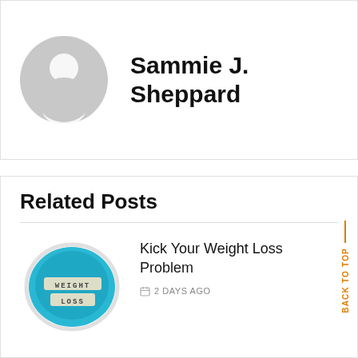[Figure (illustration): Gray default user avatar placeholder circle with silhouette]
Sammie J. Sheppard
Related Posts
[Figure (photo): Blue plate/bowl with letter tiles spelling WEIGHT LOSS on white background]
Kick Your Weight Loss Problem
2 DAYS AGO